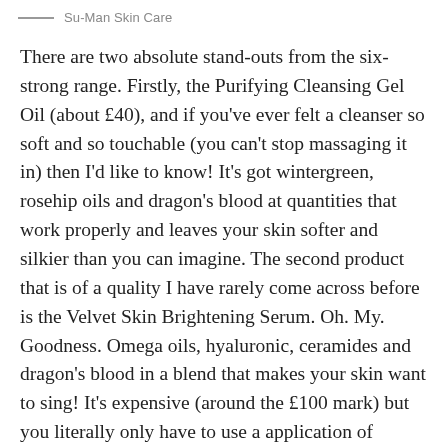Su-Man Skin Care
There are two absolute stand-outs from the six-strong range. Firstly, the Purifying Cleansing Gel Oil (about £40), and if you've ever felt a cleanser so soft and so touchable (you can't stop massaging it in) then I'd like to know! It's got wintergreen, rosehip oils and dragon's blood at quantities that work properly and leaves your skin softer and silkier than you can imagine. The second product that is of a quality I have rarely come across before is the Velvet Skin Brightening Serum. Oh. My. Goodness. Omega oils, hyaluronic, ceramides and dragon's blood in a blend that makes your skin want to sing! It's expensive (around the £100 mark) but you literally only have to use a application of